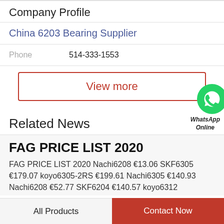Company Profile
China 6203 Bearing Supplier
Phone   514-333-1553
View more
[Figure (logo): WhatsApp green circle icon with phone handset, labeled WhatsApp Online]
Related News
FAG PRICE LIST 2020
FAG PRICE LIST 2020 Nachi6208 €13.06 SKF6305 €179.07 koyo6305-2RS €199.61 Nachi6305 €140.93 Nachi6208 €52.77 SKF6204 €140.57 koyo6312
All Products
Contact Now